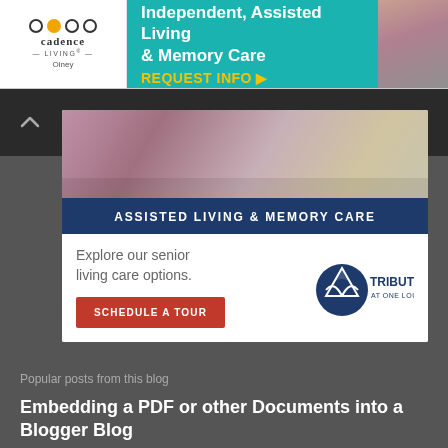[Figure (screenshot): Top banner advertisement for Cadence Living Olney with teal background. Text: 'Independent, Assisted Living & Memory Care' and 'REQUEST INFO ▶']
[Figure (screenshot): Main advertisement card for Tribute at One Loudoun assisted living. Contains image of elderly people, dark blue banner 'ASSISTED LIVING & MEMORY CARE', text 'Explore our senior living care options.', red 'SCHEDULE A TOUR' button, and Tribute at One Loudoun logo.]
Popular posts from this blog
Embedding a PDF or other Documents into a Blogger Blog
- May 08, 2012